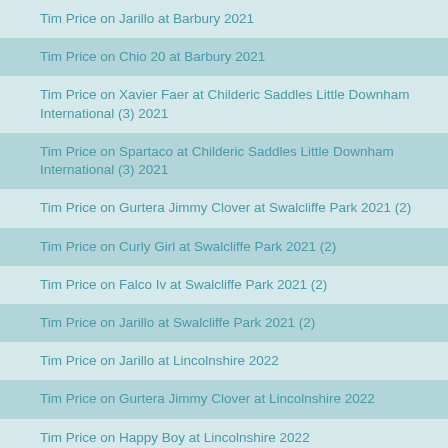Tim Price on Jarillo at Barbury 2021
Tim Price on Chio 20 at Barbury 2021
Tim Price on Xavier Faer at Childeric Saddles Little Downham International (3) 2021
Tim Price on Spartaco at Childeric Saddles Little Downham International (3) 2021
Tim Price on Gurtera Jimmy Clover at Swalcliffe Park 2021 (2)
Tim Price on Curly Girl at Swalcliffe Park 2021 (2)
Tim Price on Falco Iv at Swalcliffe Park 2021 (2)
Tim Price on Jarillo at Swalcliffe Park 2021 (2)
Tim Price on Jarillo at Lincolnshire 2022
Tim Price on Gurtera Jimmy Clover at Lincolnshire 2022
Tim Price on Happy Boy at Lincolnshire 2022
Tim Price on Vitali at Lincolnshire 2022
Tim Price on Viscount Viktor at Lincolnshire 2022
Tim Price on Coup De Coeur Dudevin at Cirencester Park (1) 2022
Tim Price on Gurtera Jimmy Clover at Cirencester Park (1) 2022
Tim Price on Xavier Faer at Cirencester Park (1) 2022